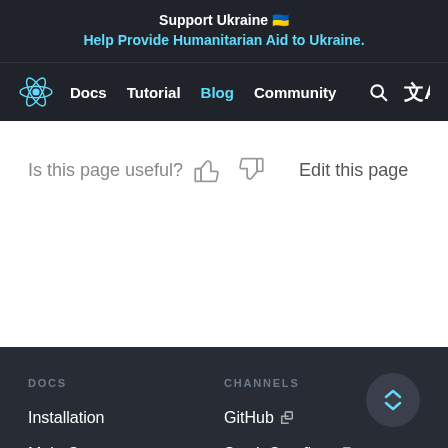Support Ukraine 🇺🇦
Help Provide Humanitarian Aid to Ukraine.
Docs  Tutorial  Blog  Community
Is this page useful? 👍 👎    Edit this page
DOCS
CHANNELS
Installation
Main Concepts
GitHub ↗
Stack Overflow ↗